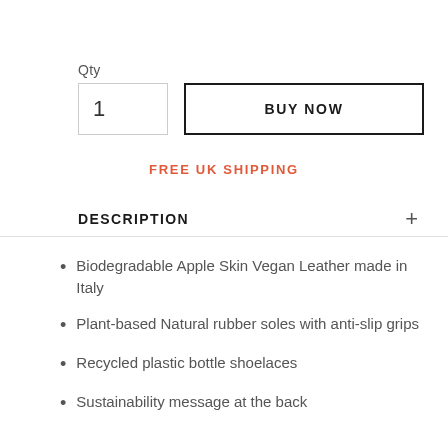Qty
1
BUY NOW
FREE UK SHIPPING
DESCRIPTION
Biodegradable Apple Skin Vegan Leather made in Italy
Plant-based Natural rubber soles with anti-slip grips
Recycled plastic bottle shoelaces
Sustainability message at the back